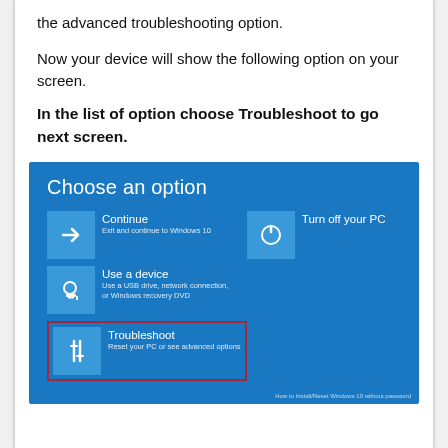the advanced troubleshooting option.
Now your device will show the following option on your screen.
In the list of option choose Troubleshoot to go next screen.
[Figure (screenshot): Windows 10 'Choose an option' blue recovery screen showing three options: Continue (Exit and continue to Windows 10), Use a device (Use a USB drive, network connection, or Windows recovery DVD), and Troubleshoot (Reset your PC or see advanced options) — the Troubleshoot option is highlighted with a red border rectangle.]